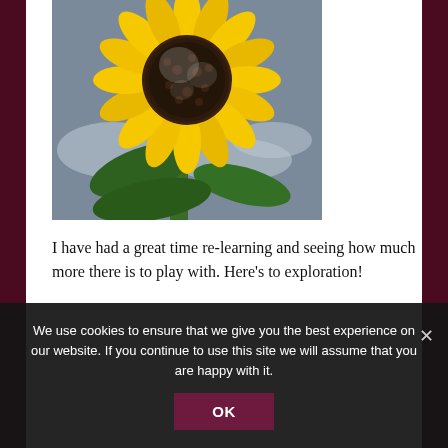[Figure (photo): Close-up painting or photograph of a large sunflower with yellow petals and dark brown seed head, with green leaves and a cloudy sky background]
I have had a great time re-learning and seeing how much more there is to play with.  Here's to exploration!
We use cookies to ensure that we give you the best experience on our website. If you continue to use this site we will assume that you are happy with it.